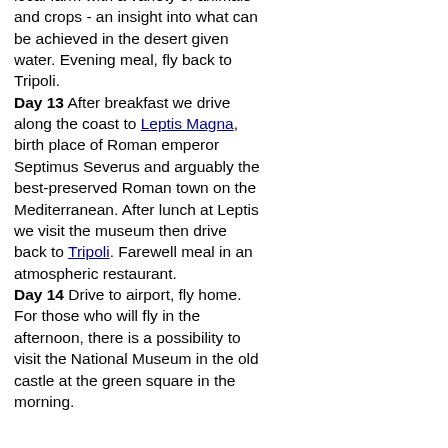room, women in another). In the afternoon there is time to see a local farm with a variety of animals and crops - an insight into what can be achieved in the desert given water. Evening meal, fly back to Tripoli. Day 13 After breakfast we drive along the coast to Leptis Magna, birth place of Roman emperor Septimus Severus and arguably the best-preserved Roman town on the Mediterranean. After lunch at Leptis we visit the museum then drive back to Tripoli. Farewell meal in an atmospheric restaurant. Day 14 Drive to airport, fly home. For those who will fly in the afternoon, there is a possibility to visit the National Museum in the old castle at the green square in the morning.